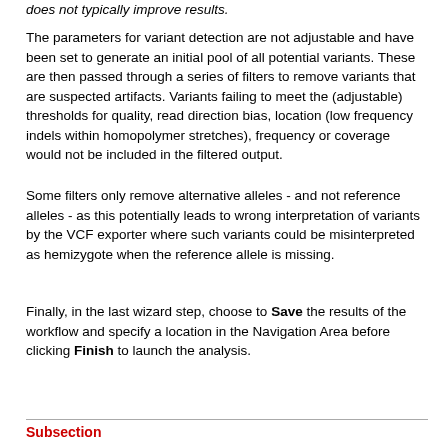does not typically improve results.
The parameters for variant detection are not adjustable and have been set to generate an initial pool of all potential variants. These are then passed through a series of filters to remove variants that are suspected artifacts. Variants failing to meet the (adjustable) thresholds for quality, read direction bias, location (low frequency indels within homopolymer stretches), frequency or coverage would not be included in the filtered output.
Some filters only remove alternative alleles - and not reference alleles - as this potentially leads to wrong interpretation of variants by the VCF exporter where such variants could be misinterpreted as hemizygote when the reference allele is missing.
Finally, in the last wizard step, choose to Save the results of the workflow and specify a location in the Navigation Area before clicking Finish to launch the analysis.
Subsection...